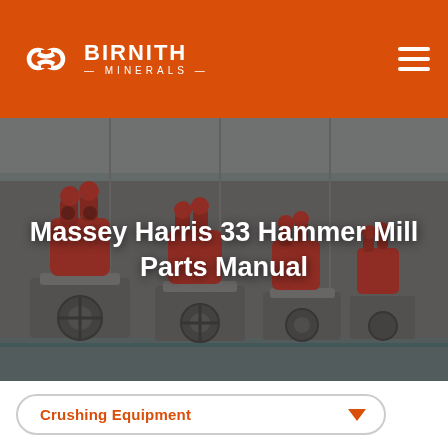BIRNITH MINERALS
[Figure (photo): Industrial factory floor showing rows of red hammer mill machines mounted on grey metal stands in a large warehouse facility]
Massey Harris 33 Hammer Mill Parts Manual
Crushing Equipment